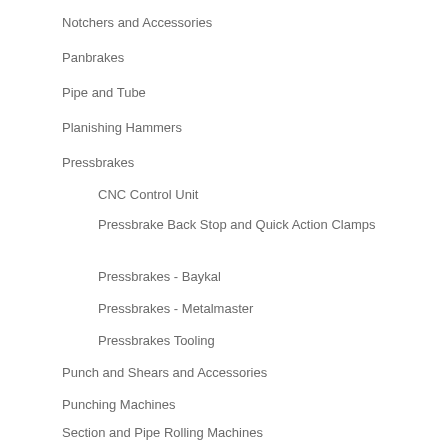Notchers and Accessories
Panbrakes
Pipe and Tube
Planishing Hammers
Pressbrakes
CNC Control Unit
Pressbrake Back Stop and Quick Action Clamps
Pressbrakes - Baykal
Pressbrakes - Metalmaster
Pressbrakes Tooling
Punch and Shears and Accessories
Punching Machines
Section and Pipe Rolling Machines
Sheet and Plate Curving Machines